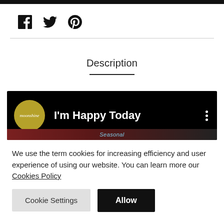[Figure (other): Social media share icons: Facebook, Twitter, Pinterest]
Description
[Figure (screenshot): Video thumbnail with moonshine logo and title 'I'm Happy Today' on black background with three-dot menu]
We use the term cookies for increasing efficiency and user experience of using our website. You can learn more our Cookies Policy
Cookie Settings | Allow